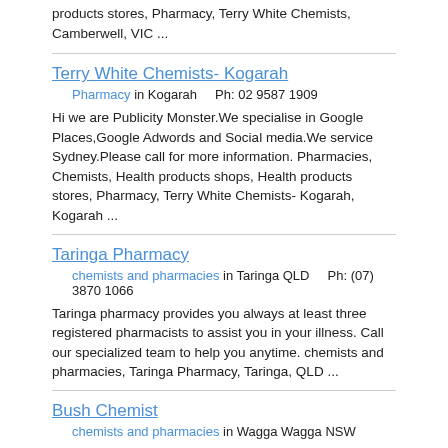products stores, Pharmacy, Terry White Chemists, Camberwell, VIC ...
Terry White Chemists- Kogarah
Pharmacy in Kogarah    Ph: 02 9587 1909
Hi we are Publicity Monster.We specialise in Google Places,Google Adwords and Social media.We service Sydney.Please call for more information. Pharmacies, Chemists, Health products shops, Health products stores, Pharmacy, Terry White Chemists- Kogarah, Kogarah ...
Taringa Pharmacy
chemists and pharmacies in Taringa QLD    Ph: (07) 3870 1066
Taringa pharmacy provides you always at least three registered pharmacists to assist you in your illness. Call our specialized team to help you anytime. chemists and pharmacies, Taringa Pharmacy, Taringa, QLD ...
Bush Chemist
chemists and pharmacies in Wagga Wagga NSW
. chemists and pharmacies, bush chemist, Wagga Wagga, NSW ...
Taringa Chemist
chemists and pharmacies in Taringa QLD    Ph: (07) 3870 1066
Taringa pharmacy provides you always at least three registered pharmacists to assist you in your illness. Call our specialized team to help you anytime.